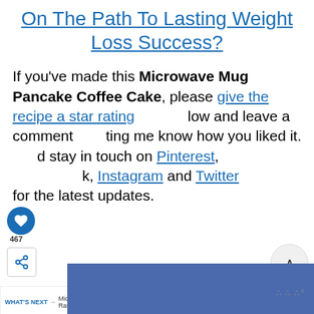On The Path To Lasting Weight Loss Success?
If you've made this Microwave Mug Pancake Coffee Cake, please give the recipe a star rating below and leave a comment letting me know how you liked it. And stay in touch on Pinterest, Facebook, Instagram and Twitter for the latest updates.
[Figure (screenshot): Website UI overlay elements: heart icon button, share icon button, 467 count badge, up-arrow button, What's Next panel with Microwave Raspberry text and food thumbnail image, search button]
[Figure (screenshot): Blue banner advertisement area at bottom of page with MW logo watermark]